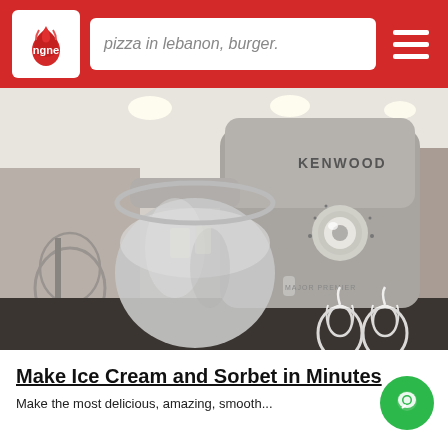pizza in lebanon, burger.
[Figure (photo): A Kenwood stand mixer (silver/grey, with stainless steel bowl and chrome speed knob) displayed on a dark countertop in what appears to be a retail store. The mixer shows the Kenwood logo and model text. Garlic logo watermark in the bottom right corner.]
Make Ice Cream and Sorbet in Minutes
Make the most delicious, amazing, smooth...